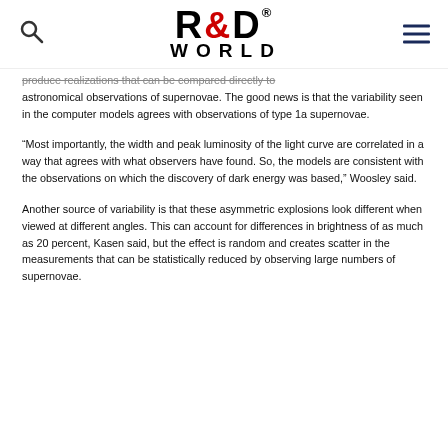R&D WORLD
produce realizations that can be compared directly to astronomical observations of supernovae. The good news is that the variability seen in the computer models agrees with observations of type 1a supernovae.
“Most importantly, the width and peak luminosity of the light curve are correlated in a way that agrees with what observers have found. So, the models are consistent with the observations on which the discovery of dark energy was based,” Woosley said.
Another source of variability is that these asymmetric explosions look different when viewed at different angles. This can account for differences in brightness of as much as 20 percent, Kasen said, but the effect is random and creates scatter in the measurements that can be statistically reduced by observing large numbers of supernovae.